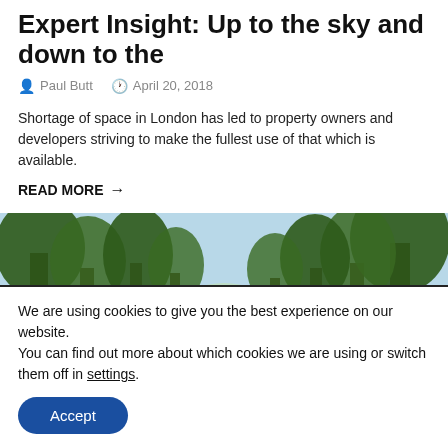Expert Insight: Up to the sky and down to the
Paul Butt   April 20, 2018
Shortage of space in London has led to property owners and developers striving to make the fullest use of that which is available.
READ MORE →
[Figure (photo): A scenic rural path lined with large trees and green fields on a sunny day.]
We are using cookies to give you the best experience on our website.
You can find out more about which cookies we are using or switch them off in settings.
Accept